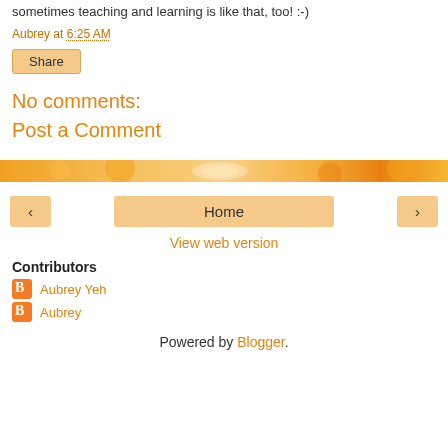sometimes teaching and learning is like that, too! :-)
Aubrey at 6:25 AM
Share
No comments:
Post a Comment
[Figure (illustration): Orange decorative banner strip with swirling patterns]
< Home >
View web version
Contributors
Aubrey Yeh
Aubrey
Powered by Blogger.